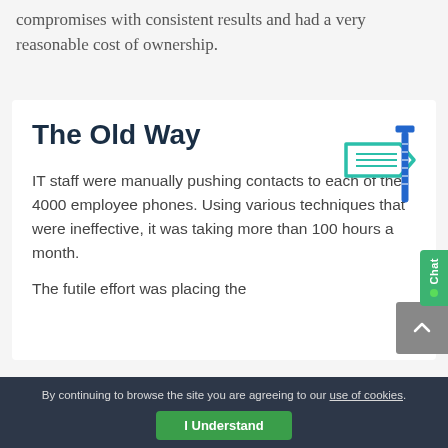compromises with consistent results and had a very reasonable cost of ownership.
The Old Way
[Figure (illustration): Icon of a hammer/tool colored in teal/green and blue, representing the old way of doing things manually.]
IT staff were manually pushing contacts to each of the 4000 employee phones. Using various techniques that were ineffective, it was taking more than 100 hours a month.
The futile effort was placing the
By continuing to browse the site you are agreeing to our use of cookies.
I Understand